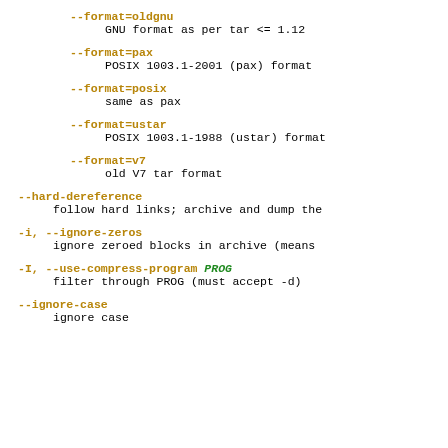--format=oldgnu
    GNU format as per tar <= 1.12
--format=pax
    POSIX 1003.1-2001 (pax) format
--format=posix
    same as pax
--format=ustar
    POSIX 1003.1-1988 (ustar) format
--format=v7
    old V7 tar format
--hard-dereference
    follow hard links; archive and dump the
-i, --ignore-zeros
    ignore zeroed blocks in archive (means
-I, --use-compress-program PROG
    filter through PROG (must accept -d)
--ignore-case
    ignore case